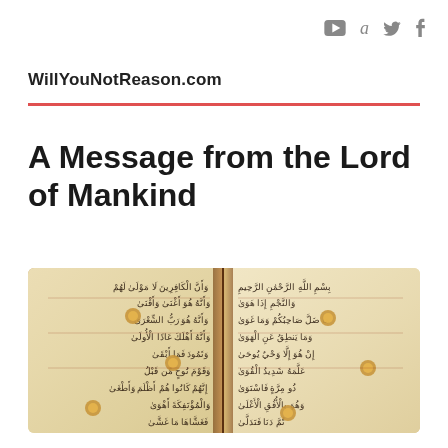▶ a 𝕏 f
WillYouNotReason.com
A Message from the Lord of Mankind
[Figure (photo): Close-up photograph of an open Quran manuscript showing Arabic calligraphy text in black ink on aged parchment with golden decorative medallions/markers]